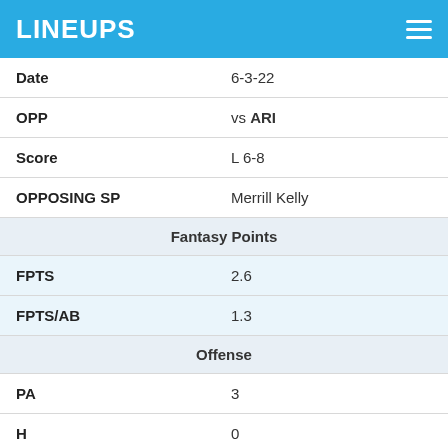LINEUPS
| Date | 6-3-22 |
| OPP | vs ARI |
| Score | L 6-8 |
| OPPOSING SP | Merrill Kelly |
| Fantasy Points |  |
| FPTS | 2.6 |
| FPTS/AB | 1.3 |
| Offense |  |
| PA | 3 |
| H | 0 |
| 2B | 0 |
| 3B | 0 |
| HR | 0 |